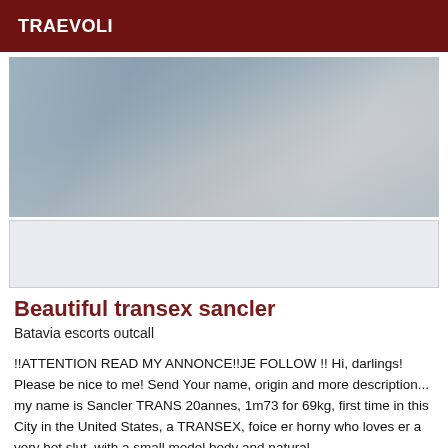TRAEVOLI
[Figure (photo): Partial body photo of a person, torso area visible, grayish-blue tones]
Beautiful transex sancler
Batavia escorts outcall
!!ATTENTION READ MY ANNONCE!!JE FOLLOW !! Hi, darlings! Please be nice to me! Send Your name, origin and more description... my name is Sancler TRANS 20annes, 1m73 for 69kg, first time in this City in the United States, a TRANSEX, foice er horny who loves er a very hot slut, with a small model body and natural